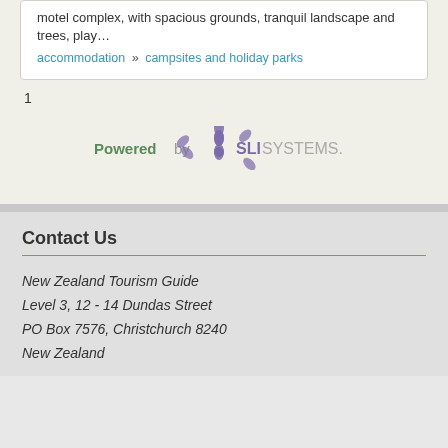motel complex, with spacious grounds, tranquil landscape and trees, play…
accommodation » campsites and holiday parks
1
[Figure (logo): Powered by SLI Systems logo]
Contact Us
New Zealand Tourism Guide
Level 3, 12 - 14 Dundas Street
PO Box 7576, Christchurch 8240
New Zealand